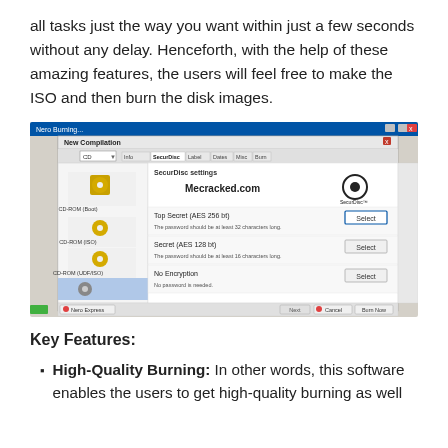all tasks just the way you want within just a few seconds without any delay. Henceforth, with the help of these amazing features, the users will feel free to make the ISO and then burn the disk images.
[Figure (screenshot): Screenshot of Nero Burning software showing a New Compilation dialog with SecurDisc settings panel. Options include CD-ROM (Boot), CD-ROM (ISO), CD-ROM (UDF/ISO), and a selected item. The settings panel shows: Top Secret (AES 256 bt) with Select button, Secret (AES 128 bt) with Select button, and No Encryption with Select button. The Mecracked.com watermark and SecurDisc logo are visible.]
Key Features:
High-Quality Burning: In other words, this software enables the users to get high-quality burning as well